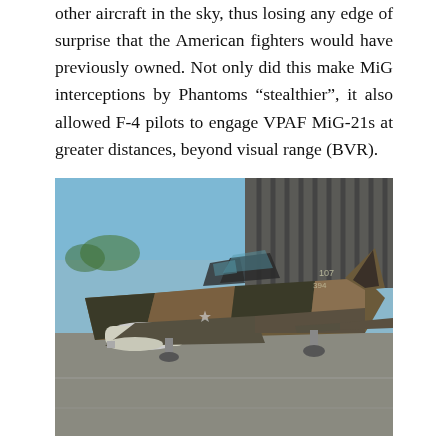other aircraft in the sky, thus losing any edge of surprise that the American fighters would have previously owned. Not only did this make MiG interceptions by Phantoms “stealthier”, it also allowed F-4 pilots to engage VPAF MiG-21s at greater distances, beyond visual range (BVR).
[Figure (photo): A camouflaged F-4 Phantom II fighter jet (brown/green/black camouflage scheme) parked on a tarmac with revetments in the background and a clear blue sky. The aircraft has its canopies open and is seen from a front-left angle.]